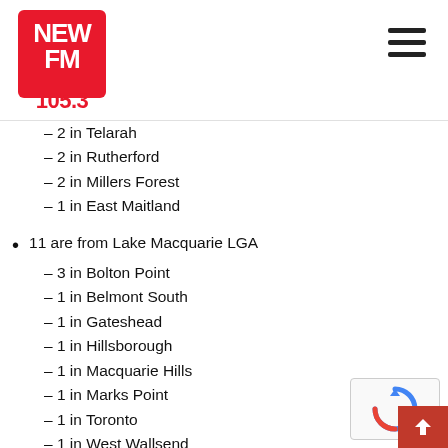NEW FM 105.3 logo and navigation
– 2 in Telarah
– 2 in Rutherford
– 2 in Millers Forest
– 1 in East Maitland
11 are from Lake Macquarie LGA
– 3 in Bolton Point
– 1 in Belmont South
– 1 in Gateshead
– 1 in Hillsborough
– 1 in Macquarie Hills
– 1 in Marks Point
– 1 in Toronto
– 1 in West Wallsend
– 1 in Croudace Bay
9 are from Cessnock LGA
– 7 in Weston